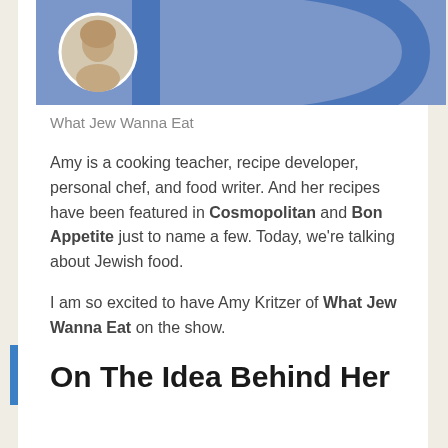[Figure (photo): Header banner with periwinkle/blue background, circular profile photo of a woman with blonde hair, and a large blue D-shaped logo outline on the right side]
What Jew Wanna Eat
Amy is a cooking teacher, recipe developer, personal chef, and food writer. And her recipes have been featured in Cosmopolitan and Bon Appetite just to name a few. Today, we’re talking about Jewish food.
I am so excited to have Amy Kritzer of What Jew Wanna Eat on the show.
On The Idea Behind Her